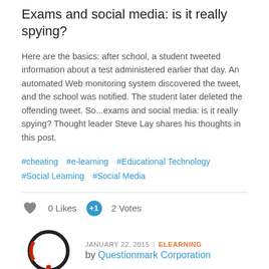Exams and social media: is it really spying?
Here are the basics: after school, a student tweeted information about a test administered earlier that day. An automated Web monitoring system discovered the tweet, and the school was notified. The student later deleted the offending tweet. So...exams and social media: is it really spying? Thought leader Steve Lay shares his thoughts in this post.
#cheating  #e-learning  #Educational Technology  #Social Learning  #Social Media
0 Likes    2 Votes
JANUARY 22, 2015 | ELEARNING
by Questionmark Corporation